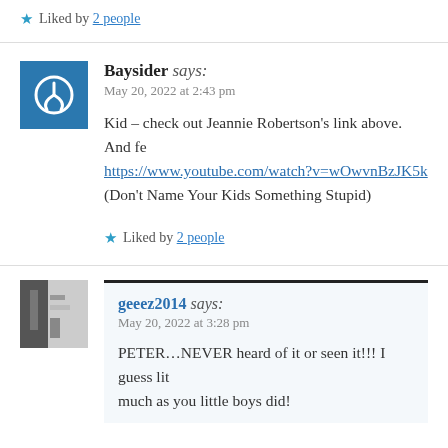★ Liked by 2 people
Baysider says: May 20, 2022 at 2:43 pm
Kid – check out Jeannie Robertson's link above. And fe https://www.youtube.com/watch?v=wOwvnBzJK5k (Don't Name Your Kids Something Stupid)
★ Liked by 2 people
geeez2014 says: May 20, 2022 at 3:28 pm
PETER…NEVER heard of it or seen it!!! I guess lit much as you little boys did!